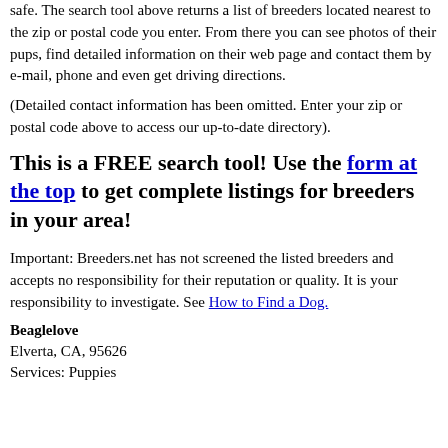safe. The search tool above returns a list of breeders located nearest to the zip or postal code you enter. From there you can see photos of their pups, find detailed information on their web page and contact them by e-mail, phone and even get driving directions.
(Detailed contact information has been omitted. Enter your zip or postal code above to access our up-to-date directory).
This is a FREE search tool! Use the form at the top to get complete listings for breeders in your area!
Important: Breeders.net has not screened the listed breeders and accepts no responsibility for their reputation or quality. It is your responsibility to investigate. See How to Find a Dog.
Beaglelove
Elverta, CA, 95626
Services: Puppies